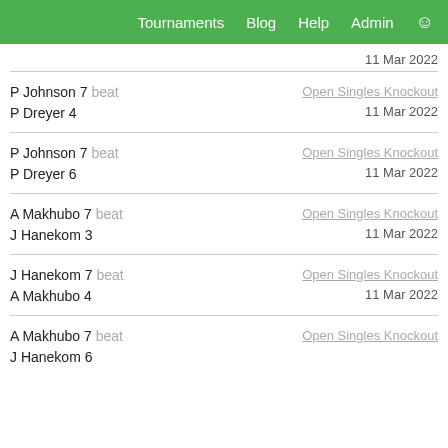Tournaments | Blog | Help | Admin | User
11 Mar 2022
P Johnson 7 beat
P Dreyer 4
Open Singles Knockout
11 Mar 2022
P Johnson 7 beat
P Dreyer 6
Open Singles Knockout
11 Mar 2022
A Makhubo 7 beat
J Hanekom 3
Open Singles Knockout
11 Mar 2022
J Hanekom 7 beat
A Makhubo 4
Open Singles Knockout
11 Mar 2022
A Makhubo 7 beat
J Hanekom 6
Open Singles Knockout